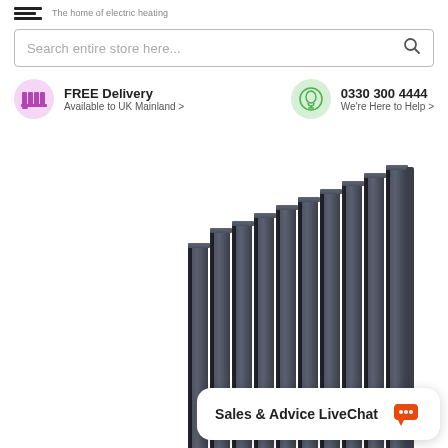The home of electric heating
Search entire store here...
FREE Delivery
Available to UK Mainland >
0330 300 4444
We're Here to Help >
[Figure (photo): Dark anthracite vertical panel radiator product photo, showing multiple flat vertical panels in a dark grey/charcoal finish, photographed on white background.]
Sales & Advice LiveChat